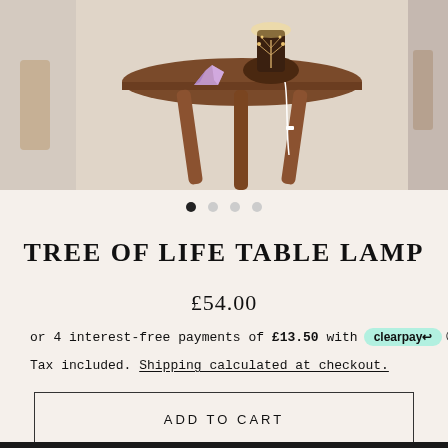[Figure (photo): Product photo of a Tree of Life Table Lamp sitting on a wooden three-legged stool. A crystal/amethyst rock is placed next to it. The lamp has an intricate tree-of-life design on the wooden shade. A white cord is visible. Partial views of other products visible on left and right edges.]
TREE OF LIFE TABLE LAMP
£54.00
or 4 interest-free payments of £13.50 with Clearpay ⓘ
Tax included. Shipping calculated at checkout.
ADD TO CART